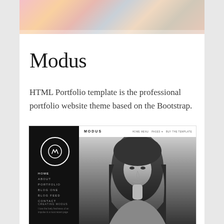[Figure (photo): Colorful abstract photo partially visible at top of card]
Modus
HTML Portfolio template is the professional portfolio website theme based on the Bootstrap.
[Figure (screenshot): Screenshot of the Modus HTML portfolio template showing a dark sidebar with logo and navigation menu on the left, and a top navigation bar with MODUS brand and links (HOME MENU, PAGES, BUY THE TEMPLATE) on the right. The main area shows a black and white photo of a woman with long hair.]